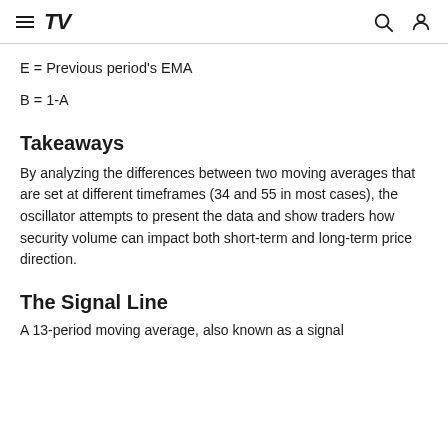TradingView navigation header
E = Previous period's EMA
B = 1-A
Takeaways
By analyzing the differences between two moving averages that are set at different timeframes (34 and 55 in most cases), the oscillator attempts to present the data and show traders how security volume can impact both short-term and long-term price direction.
The Signal Line
A 13-period moving average, also known as a signal